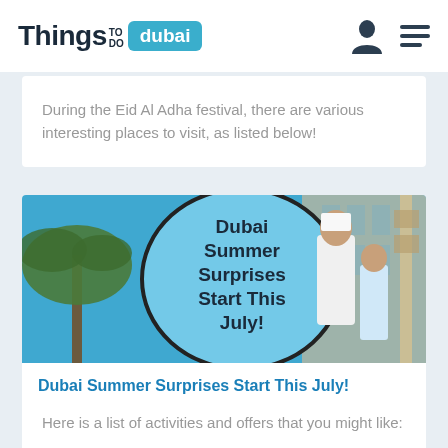Things TO DO dubai
During the Eid Al Adha festival, there are various interesting places to visit, as listed below!
[Figure (photo): Photo showing a man in white traditional UAE dress walking with a young girl against a blue sky background, with a large speech bubble graphic reading 'Dubai Summer Surprises Start This July!' and palm trees and buildings visible.]
Dubai Summer Surprises Start This July!
Here is a list of activities and offers that you might like: